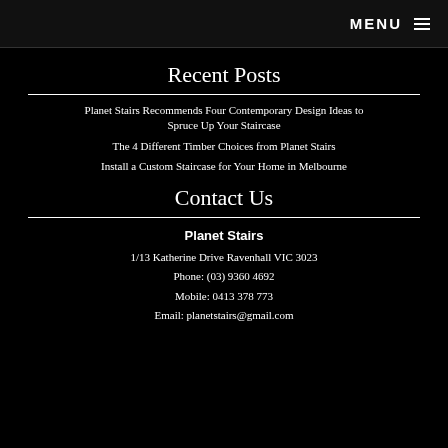MENU ☰
Recent Posts
Planet Stairs Recommends Four Contemporary Design Ideas to Spruce Up Your Staircase
The 4 Different Timber Choices from Planet Stairs
Install a Custom Staircase for Your Home in Melbourne
Contact Us
Planet Stairs
1/13 Katherine Drive Ravenhall VIC 3023
Phone: (03) 9360 4692
Mobile: 0413 378 773
Email: planetstairs@gmail.com